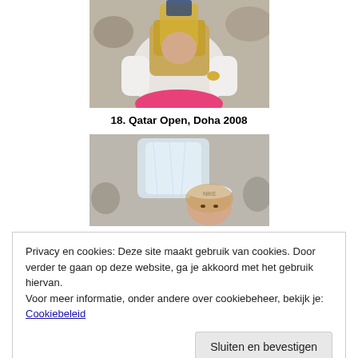[Figure (photo): Tennis player holding trophy, wearing white long-sleeve top and pink skirt]
18. Qatar Open, Doha 2008
[Figure (photo): Tennis player holding crystal trophy, wearing white headband with Nike logo]
Privacy en cookies: Deze site maakt gebruik van cookies. Door verder te gaan op deze website, ga je akkoord met het gebruik hiervan.
Voor meer informatie, onder andere over cookiebeheer, bekijk je: Cookiebeleid
Sluiten en bevestigen
[Figure (photo): Partial photo at bottom, tennis related]